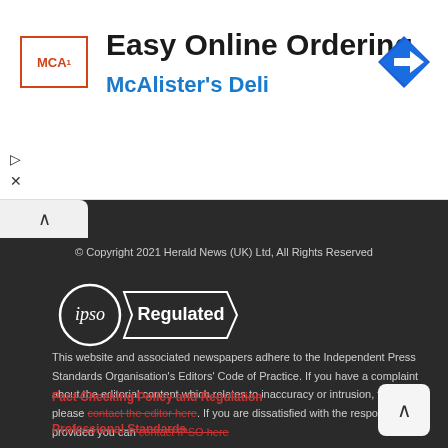[Figure (advertisement): McAlister's Deli Easy Online Ordering banner ad with logo and navigation arrow icon]
© Copyright 2021 Herald News (UK) Ltd, All Rights Reserved
[Figure (logo): IPSO Regulated badge - circle with IPSO text and banner reading Regulated]
This website and associated newspapers adhere to the Independent Press Standards Organisation's Editors' Code of Practice. If you have a complaint about the editorial content which relates to inaccuracy or intrusion, then please contact the editor here. If you are dissatisfied with the response provided you can contact IPSO here
Fact Checking Policy and Regulation
Professional Standards